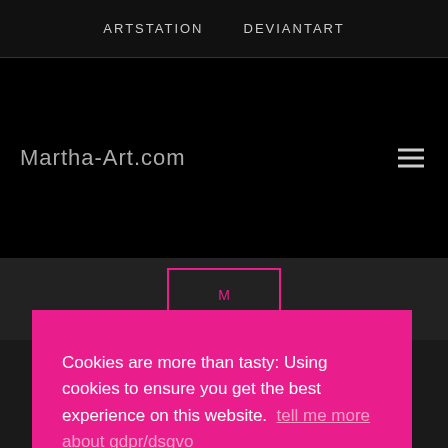ARTSTATION   DEVIANTART
Martha-Art.com
[Figure (screenshot): Website screenshot showing Martha-Art.com navigation header on black background with hamburger menu icon, and partial pink bordered logo box below]
Cookies are more than tasty: Using cookies to ensure you get the best experience on this website.  tell me more about gdpr/dsgvo
I Deny
Allow all cookies